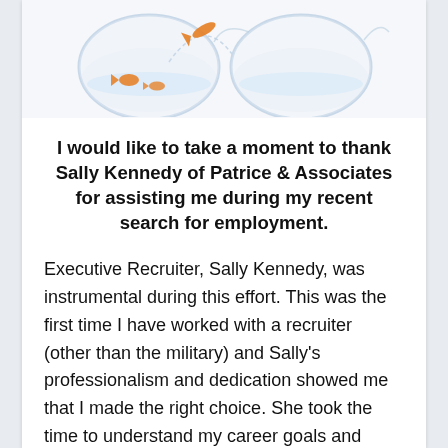[Figure (photo): Two glass fishbowls side by side, with goldfish jumping between them, on a white background.]
I would like to take a moment to thank Sally Kennedy of Patrice & Associates for assisting me during my recent search for employment.
Executive Recruiter, Sally Kennedy, was instrumental during this effort. This was the first time I have worked with a recruiter (other than the military) and Sally's professionalism and dedication showed me that I made the right choice. She took the time to understand my career goals and provided advice and guidance during